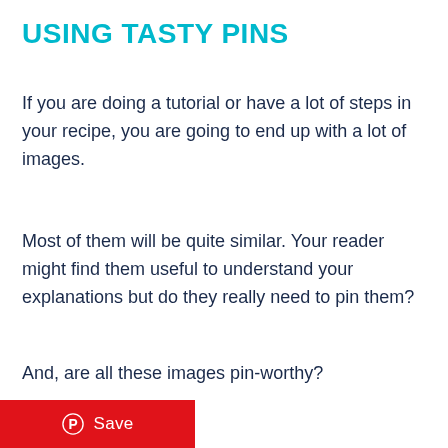USING TASTY PINS
If you are doing a tutorial or have a lot of steps in your recipe, you are going to end up with a lot of images.
Most of them will be quite similar. Your reader might find them useful to understand your explanations but do they really need to pin them?
And, are all these images pin-worthy?